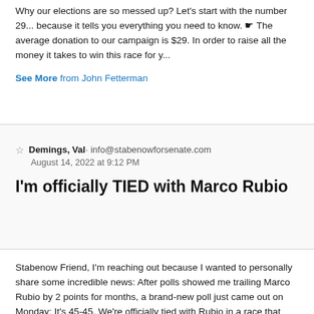Why our elections are so messed up? Let's start with the number 29... because it tells you everything you need to know. ☛ The average donation to our campaign is $29. In order to raise all the money it takes to win this race for y...
See More from John Fetterman
Demings, Val · info@stabenowforsenate.com
August 14, 2022 at 9:12 PM
I'm officially TIED with Marco Rubio
Stabenow Friend, I'm reaching out because I wanted to personally share some incredible news: After polls showed me trailing Marco Rubio by 2 points for months, a brand-new poll just came out on Monday: It's 45-45. We're officially tied with Rubio in a race that could decide Senate control....